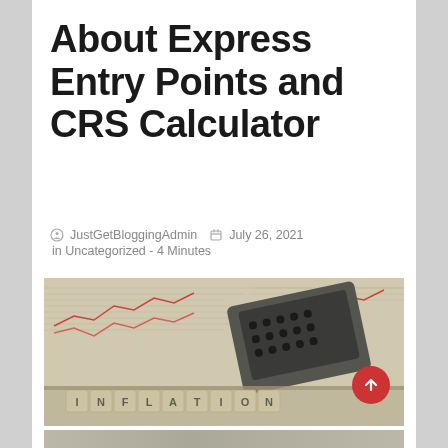About Express Entry Points and CRS Calculator
JustGetBloggingAdmin  July 26, 2021
in Uncategorized - 4 Minutes
[Figure (photo): Photo of wooden letter blocks spelling INFLATION in front of a calculator leaning on newspaper with red stock market chart lines in the background]
[Figure (photo): Partial view of another photo at the bottom of the page]